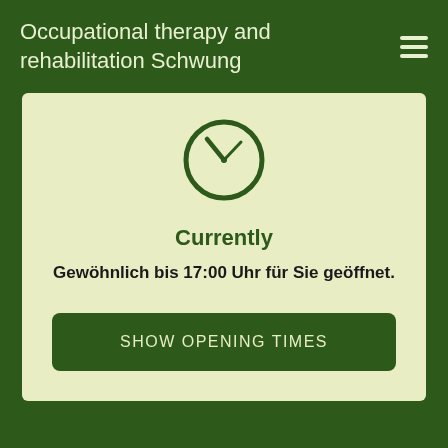Occupational therapy and rehabilitation Schwung
[Figure (illustration): Clock icon (circle with hour and minute hands pointing to approximately 10:10), dark green outline on light green/cream background]
Currently
Gewöhnlich bis 17:00 Uhr für Sie geöffnet.
SHOW OPENING TIMES
News
English